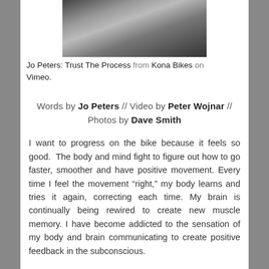[Figure (photo): Blurry black and white photograph, appears to show a person on a mountain bike.]
Jo Peters: Trust The Process from Kona Bikes on Vimeo.
Words by Jo Peters // Video by Peter Wojnar // Photos by Dave Smith
I want to progress on the bike because it feels so good.  The body and mind fight to figure out how to go faster, smoother and have positive movement. Every time I feel the movement “right,” my body learns and tries it again, correcting each time. My brain is continually being rewired to create new muscle memory. I have become addicted to the sensation of my body and brain communicating to create positive feedback in the subconscious.